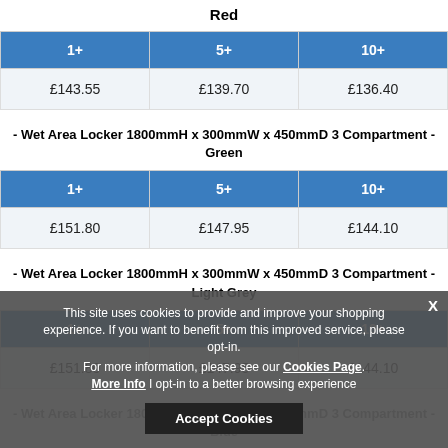Red
| 1+ | 5+ | 10+ |
| --- | --- | --- |
| £143.55 | £139.70 | £136.40 |
- Wet Area Locker 1800mmH x 300mmW x 450mmD 3 Compartment - Green
| 1+ | 5+ | 10+ |
| --- | --- | --- |
| £151.80 | £147.95 | £144.10 |
- Wet Area Locker 1800mmH x 300mmW x 450mmD 3 Compartment - Light Grey
| 1+ | 5+ | 10+ |
| --- | --- | --- |
| £151.80 | £147.95 | £144.10 |
- Wet Area Locker 1800mmH x 300mmW x 450mmD 3 Compartment - Blue
| 1+ | 5+ | 10+ |
| --- | --- | --- |
| £151.80 | £147.95 | £144.10 |
This site uses cookies to provide and improve your shopping experience. If you want to benefit from this improved service, please opt-in. For more information, please see our Cookies Page. More Info | opt-in to a better browsing experience